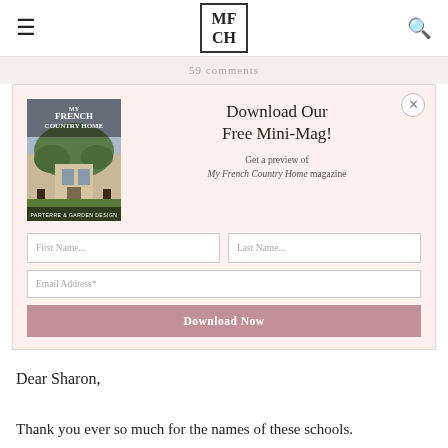MFCH
59 comments
[Figure (screenshot): Download Our Free Mini-Mag popup modal with magazine cover image, text, form fields for First Name, Last Name, Email Address, and a Download Now button]
Dear Sharon,
Thank you ever so much for the names of these schools.